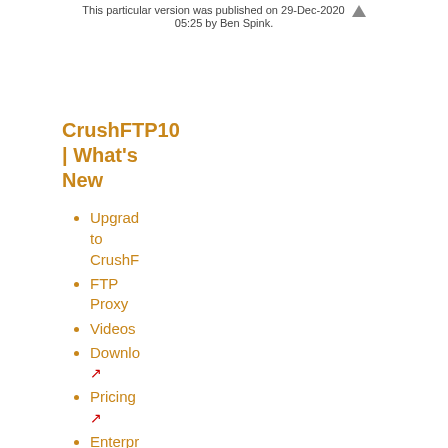This particular version was published on 29-Dec-2020 05:25 by Ben Spink.
CrushFTP10 | What's New
Upgrade to CrushF
FTP Proxy
Videos
Downlo
Pricing
Enterprise License Enhanc
WebInt
U
D
C
s